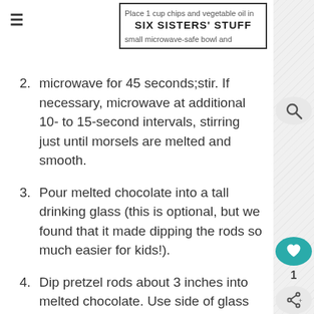SIX SISTERS' STUFF — site header with hamburger menu, logo, and search icon
2. Place 1 cup chips and vegetable oil in small microwave-safe bowl and microwave for 45 seconds;stir. If necessary, microwave at additional 10- to 15-second intervals, stirring just until morsels are melted and smooth.
3. Pour melted chocolate into a tall drinking glass (this is optional, but we found that it made dipping the rods so much easier for kids!).
4. Dip pretzel rods about 3 inches into melted chocolate. Use side of glass to remove excess. If desired, sprinkle with sprinkles and place on prepared baking sheet. Let pretzels cool until chocolate is set. Store in airtight container at room temperature.